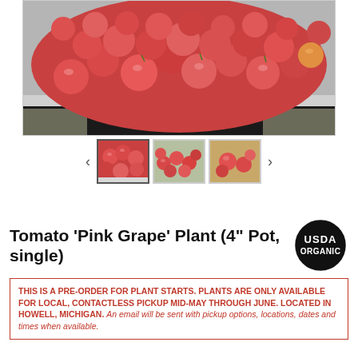[Figure (photo): Large close-up photo of many pink/red grape tomatoes piled in a tray, with a person in dark clothing visible below]
[Figure (photo): Thumbnail 1: pink grape tomatoes in tray (selected/active)]
[Figure (photo): Thumbnail 2: pink grape tomatoes spread on surface]
[Figure (photo): Thumbnail 3: small group of pink grape tomatoes on wooden surface]
Tomato 'Pink Grape' Plant (4" Pot, single)
[Figure (logo): USDA Organic circular badge/seal]
THIS IS A PRE-ORDER FOR PLANT STARTS. PLANTS ARE ONLY AVAILABLE FOR LOCAL, CONTACTLESS PICKUP MID-MAY THROUGH JUNE. LOCATED IN HOWELL, MICHIGAN. An email will be sent with pickup options, locations, dates and times when available.